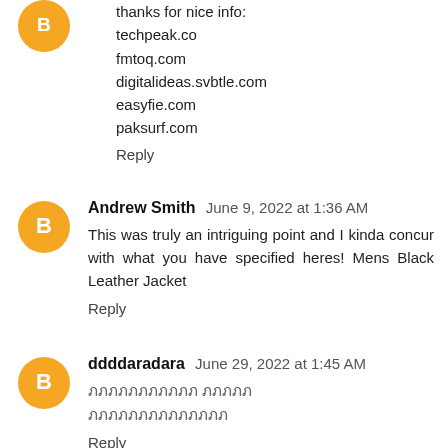thanks for nice info:
techpeak.co
fmtoq.com
digitalideas.svbtle.com
easyfie.com
paksurf.com
Reply
Andrew Smith  June 9, 2022 at 1:36 AM
This was truly an intriguing point and I kinda concur with what you have specified heres! Mens Black Leather Jacket
Reply
ddddaradara  June 29, 2022 at 1:45 AM
ภภภภภภภภภภภ ภภภภภ
ภภภภภภภภภภภภภภ
Reply